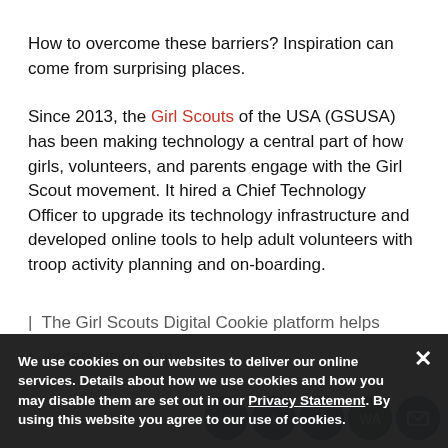How to overcome these barriers? Inspiration can come from surprising places.
Since 2013, the Girl Scouts of the USA (GSUSA) has been making technology a central part of how girls, volunteers, and parents engage with the Girl Scout movement. It hired a Chief Technology Officer to upgrade its technology infrastructure and developed online tools to help adult volunteers with troop activity planning and on-boarding.
The Girl Scouts Digital Cookie platform helps
orders using a m
We use cookies on our websites to deliver our online services. Details about how we use cookies and how you may disable them are set out in our Privacy Statement. By using this website you agree to our use of cookies.